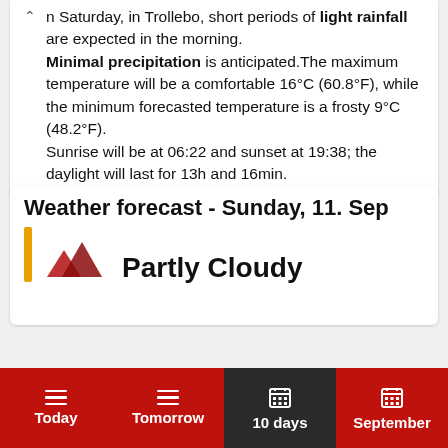n Saturday, in Trollebo, short periods of light rainfall are expected in the morning. Minimal precipitation is anticipated. The maximum temperature will be a comfortable 16°C (60.8°F), while the minimum forecasted temperature is a frosty 9°C (48.2°F). Sunrise will be at 06:22 and sunset at 19:38; the daylight will last for 13h and 16min.
Weather forecast - Sunday, 11. Sep
Today | Tomorrow | 10 days | September